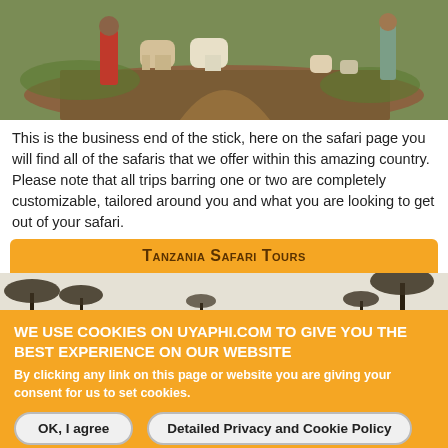[Figure (photo): People with cattle on a dirt path surrounded by green grass]
This is the business end of the stick, here on the safari page you will find all of the safaris that we offer within this amazing country. Please note that all trips barring one or two are completely customizable, tailored around you and what you are looking to get out of your safari.
Tanzania Safari Tours
[Figure (photo): Savanna landscape with acacia trees in sepia/grey tones]
We use cookies on Uyaphi.com to give you the best experience on our website
By clicking any link on this page or website you are giving your consent for us to set cookies.
OK, I agree   Detailed Privacy and Cookie Policy